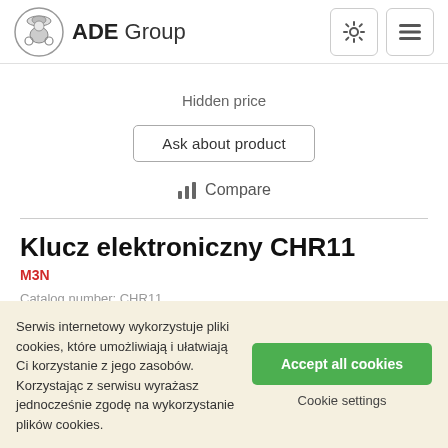ADE Group
Hidden price
Ask about product
Compare
Klucz elektroniczny CHR11
M3N
Serwis internetowy wykorzystuje pliki cookies, które umożliwiają i ułatwiają Ci korzystanie z jego zasobów. Korzystając z serwisu wyrażasz jednocześnie zgodę na wykorzystanie plików cookies.
Accept all cookies
Cookie settings